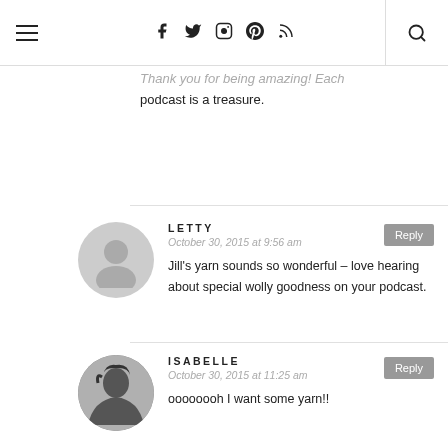Navigation bar with hamburger menu, social icons (Facebook, Twitter, Instagram, Pinterest, RSS), and search
Thank you for being amazing! Each podcast is a treasure.
LETTY
October 30, 2015 at 9:56 am
Jill's yarn sounds so wonderful – love hearing about special wolly goodness on your podcast.
ISABELLE
October 30, 2015 at 11:25 am
oooooooh I want some yarn!!